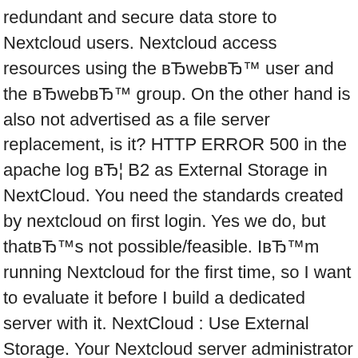redundant and secure data store to Nextcloud users. Nextcloud access resources using the вЂ‌webвЂ™ user and the вЂ‌webвЂ™ group. On the other hand is also not advertised as a file server replacement, is it? HTTP ERROR 500 in the apache log вЂ¦ B2 as External Storage in NextCloud. You need the standards created by nextcloud on first login. Yes we do, but thatвЂ™s not possible/feasible. IвЂ™m running Nextcloud for the first time, so I want to evaluate it before I build a dedicated server with it. NextCloud : Use External Storage. Your Nextcloud server administrator controls which of these are available to you. itвЂ™s not in the nextcloud default. External Storage Articles Object Store as Primary Storage By default, Nextcloud store users' files in nextcloud/data, but you might want to take advantage of the